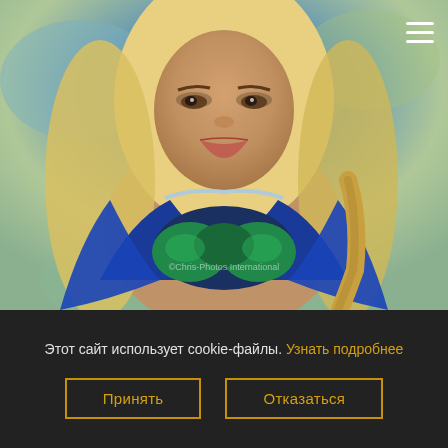[Figure (photo): Blonde woman in blue and teal sequined outfit, outdoor background with blurred foliage. Watermark reads '©Chris-Photos International'. Hamburger menu icon visible in top-right corner.]
Этот сайт использует cookie-файлы. Узнать подробнее
Принять
Отказаться